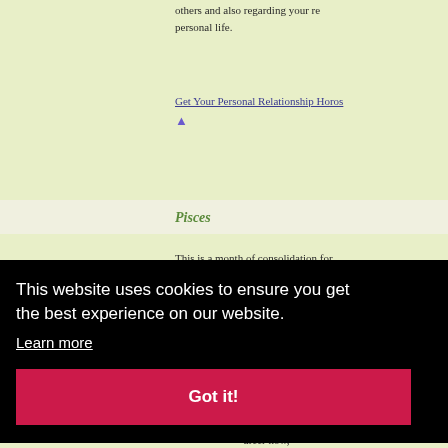others and also regarding your relationships in your personal life.
Get Your Personal Relationship Horoscope
Pisces
This is a month of consolidation for your life purpose. The appreciation empower you, sized and inner priorities. The world is very unexpected al considerations coming on s process. from below areer now, success now,
This website uses cookies to ensure you get the best experience on our website. Learn more Got it!